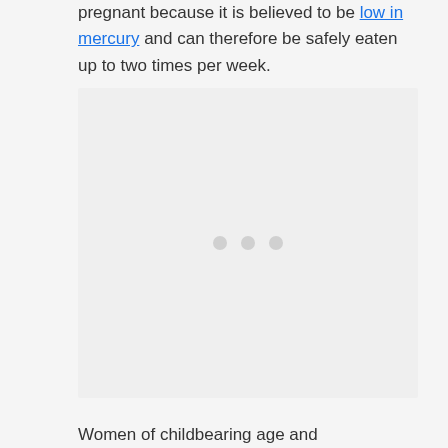pregnant because it is believed to be low in mercury and can therefore be safely eaten up to two times per week.
[Figure (photo): Image placeholder with loading indicator (three grey dots) on a light grey background]
Women of childbearing age and